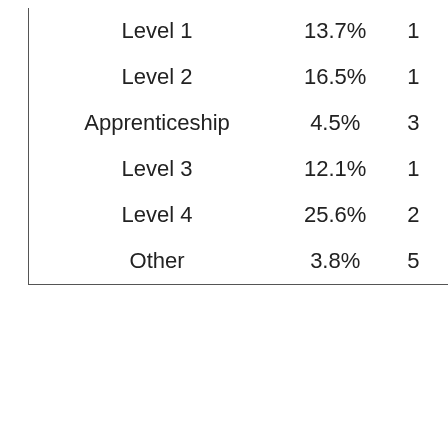| Level 1 | 13.7% | 1 |
| Level 2 | 16.5% | 1 |
| Apprenticeship | 4.5% | 3 |
| Level 3 | 12.1% | 1 |
| Level 4 | 25.6% | 2 |
| Other | 3.8% | 5 |